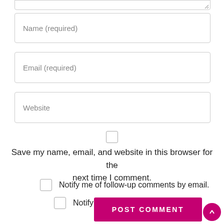[Figure (screenshot): Top edge of a textarea form field with resize handle in bottom-right corner]
Name (required)
Email (required)
Website
[Figure (other): Checkbox (unchecked) centered above save-my-name label]
Save my name, email, and website in this browser for the next time I comment.
Notify me of follow-up comments by email.
Notify me of new posts by email.
POST COMMENT